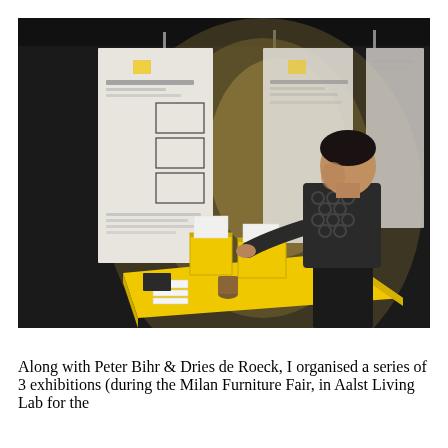[Figure (photo): A man in a dark patterned sweater leans over a yellow table in an exhibition space, examining or adjusting small yellow and white box models. Behind him on the white walls hang large white poster panels with text and diagrams. The room is lit with a warm spotlight on the table.]
Along with Peter Bihr & Dries de Roeck, I organised a series of 3 exhibitions (during the Milan Furniture Fair, in Aalst Living Lab for the